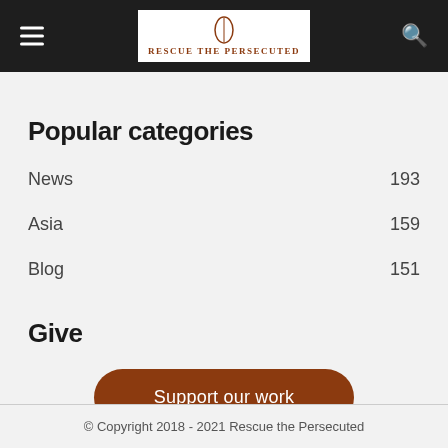Rescue The Persecuted — navigation header
Popular categories
News  193
Asia  159
Blog  151
Give
Support our work
© Copyright 2018 - 2021 Rescue the Persecuted